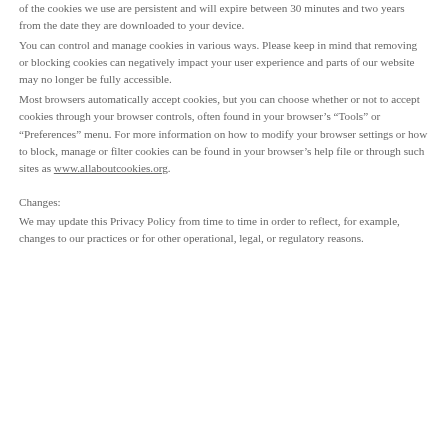of the cookies we use are persistent and will expire between 30 minutes and two years from the date they are downloaded to your device.
You can control and manage cookies in various ways. Please keep in mind that removing or blocking cookies can negatively impact your user experience and parts of our website may no longer be fully accessible.
Most browsers automatically accept cookies, but you can choose whether or not to accept cookies through your browser controls, often found in your browser's “Tools” or “Preferences” menu. For more information on how to modify your browser settings or how to block, manage or filter cookies can be found in your browser's help file or through such sites as www.allaboutcookies.org.
Changes:
We may update this Privacy Policy from time to time in order to reflect, for example, changes to our practices or for other operational, legal, or regulatory reasons.